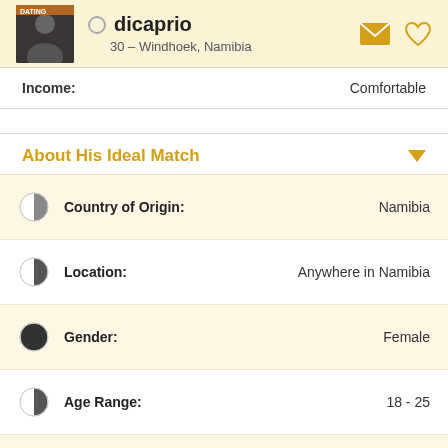dicaprio — 30 – Windhoek, Namibia
Income: Comfortable
About His Ideal Match
|  | Field | Value |
| --- | --- | --- |
|  | Country of Origin: | Namibia |
|  | Location: | Anywhere in Namibia |
|  | Gender: | Female |
|  | Age Range: | 18 - 25 |
|  | Star Sign: | Any |
|  | Height: | Any |